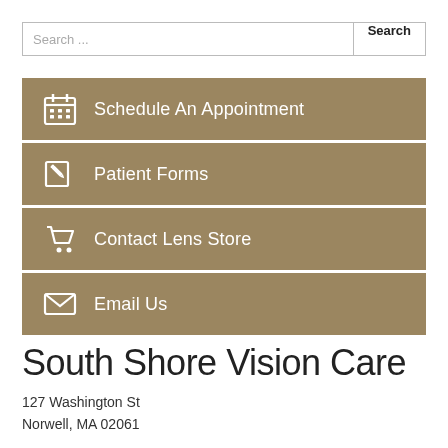Search ...
Schedule An Appointment
Patient Forms
Contact Lens Store
Email Us
South Shore Vision Care
127 Washington St
Norwell, MA 02061